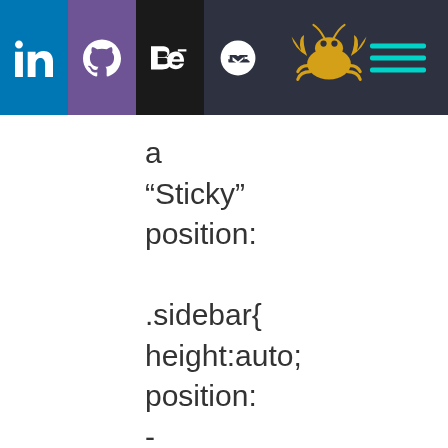[Figure (screenshot): Navigation bar with LinkedIn (blue), GitHub (purple), Behance (dark), CodePen icons, a gold crab logo, and a teal hamburger menu on dark background]
a
"Sticky"
position:

.sidebar{
height:auto;
position:
-
webkit-
sticky;
position: